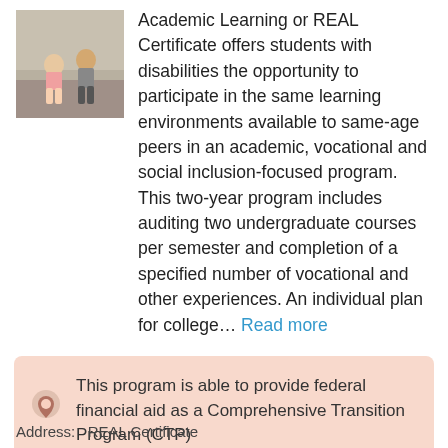[Figure (photo): Two students sitting outdoors on steps]
Academic Learning or REAL Certificate offers students with disabilities the opportunity to participate in the same learning environments available to same-age peers in an academic, vocational and social inclusion-focused program. This two-year program includes auditing two undergraduate courses per semester and completion of a specified number of vocational and other experiences. An individual plan for college... Read more
This program is able to provide federal financial aid as a Comprehensive Transition Program (CTP)
Address: REAL Certificate